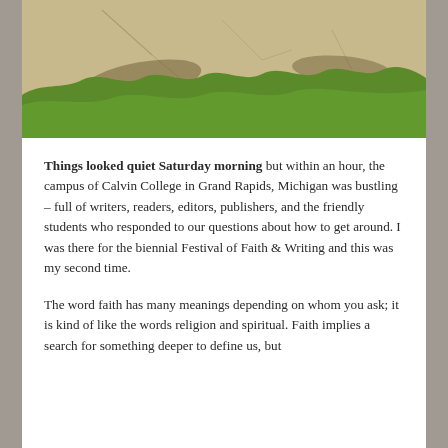[Figure (photo): Outdoor photo showing cracked concrete pavement meeting a strip of green grass, with shadows visible. Taken on a sunny day.]
Things looked quiet Saturday morning but within an hour, the campus of Calvin College in Grand Rapids, Michigan was bustling – full of writers, readers, editors, publishers, and the friendly students who responded to our questions about how to get around. I was there for the biennial Festival of Faith & Writing and this was my second time.
The word faith has many meanings depending on whom you ask; it is kind of like the words religion and spiritual. Faith implies a search for something deeper to define us, but